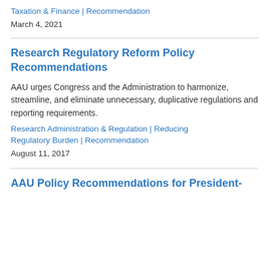Taxation & Finance | Recommendation
March 4, 2021
Research Regulatory Reform Policy Recommendations
AAU urges Congress and the Administration to harmonize, streamline, and eliminate unnecessary, duplicative regulations and reporting requirements.
Research Administration & Regulation | Reducing Regulatory Burden | Recommendation
August 11, 2017
AAU Policy Recommendations for President-